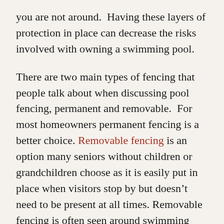you are not around.  Having these layers of protection in place can decrease the risks involved with owning a swimming pool.
There are two main types of fencing that people talk about when discussing pool fencing, permanent and removable.  For most homeowners permanent fencing is a better choice. Removable fencing is an option many seniors without children or grandchildren choose as it is easily put in place when visitors stop by but doesn't need to be present at all times. Removable fencing is often seen around swimming pools that are enclosed by a screened in porch.  Permanent fencing is a must for homes where children and pets are present.  This ensures